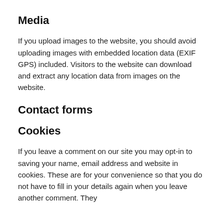Media
If you upload images to the website, you should avoid uploading images with embedded location data (EXIF GPS) included. Visitors to the website can download and extract any location data from images on the website.
Contact forms
Cookies
If you leave a comment on our site you may opt-in to saving your name, email address and website in cookies. These are for your convenience so that you do not have to fill in your details again when you leave another comment. They...